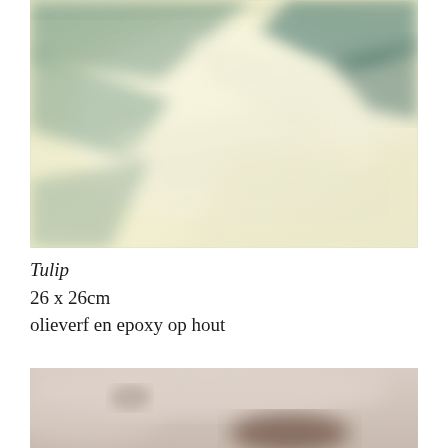[Figure (photo): Close-up blurred photograph of a tulip flower with pale yellow-cream and teal-green geometric petal shapes creating an abstract geometric pattern against white light background]
Tulip
26 x 26cm
olieverf en epoxy op hout
[Figure (photo): Partial blurred photograph showing muted pink-beige tones with dark brown shadow areas, abstract close-up of art surface]